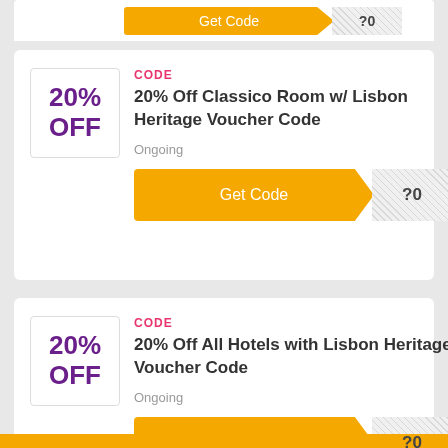[Figure (other): Partial coupon card at top, cut off, showing an orange Get Code button]
CODE
20% OFF
20% Off Classico Room w/ Lisbon Heritage Voucher Code
Ongoing
[Figure (other): Orange Get Code button with hatched reveal area showing '?0']
CODE
20% OFF
20% Off All Hotels with Lisbon Heritage Voucher Code
Ongoing
[Figure (other): Orange Get Code button with hatched reveal area showing '?0']